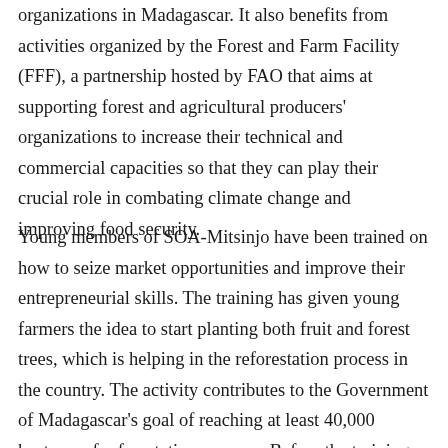organizations in Madagascar. It also benefits from activities organized by the Forest and Farm Facility (FFF), a partnership hosted by FAO that aims at supporting forest and agricultural producers' organizations to increase their technical and commercial capacities so that they can play their crucial role in combating climate change and improving food security.
Young members of SOA-Mitsinjo have been trained on how to seize market opportunities and improve their entrepreneurial skills. The training has given young farmers the idea to start planting both fruit and forest trees, which is helping in the reforestation process in the country. The activity contributes to the Government of Madagascar's goal of reaching at least 40,000 hectares of reforestation per year. Before the training many young farmers lacked